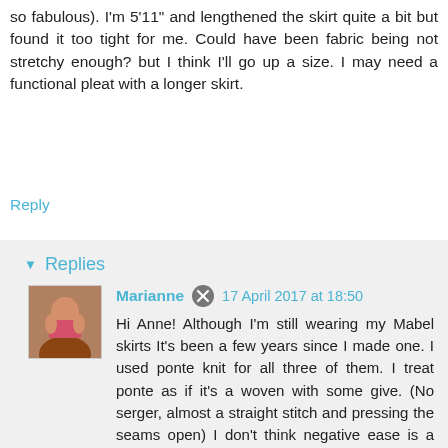so fabulous). I'm 5'11" and lengthened the skirt quite a bit but found it too tight for me. Could have been fabric being not stretchy enough? but I think I'll go up a size. I may need a functional pleat with a longer skirt.
Reply
Replies
Marianne  17 April 2017 at 18:50
Hi Anne! Although I'm still wearing my Mabel skirts It's been a few years since I made one. I used ponte knit for all three of them. I treat ponte as if it's a woven with some give. (No serger, almost a straight stitch and pressing the seams open) I don't think negative ease is a good look on me anymore so I picked my size by comparing my measurements and the finished measurements on the envelope. Instead of negative ease I went for zero ease, thinking the give in my fabric would make it work. And it did! For the on the knee skirtlength I could skip the pleat. For a longer length it would still be okay for